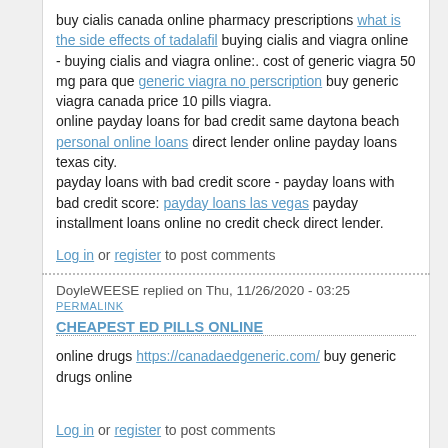buy cialis canada online pharmacy prescriptions what is the side effects of tadalafil buying cialis and viagra online - buying cialis and viagra online:. cost of generic viagra 50 mg para que generic viagra no perscription buy generic viagra canada price 10 pills viagra.
online payday loans for bad credit same daytona beach personal online loans direct lender online payday loans texas city.
payday loans with bad credit score - payday loans with bad credit score: payday loans las vegas payday installment loans online no credit check direct lender.
Log in or register to post comments
DoyleWEESE replied on Thu, 11/26/2020 - 03:25 PERMALINK
CHEAPEST ED PILLS ONLINE
online drugs https://canadaedgeneric.com/ buy generic drugs online
Log in or register to post comments